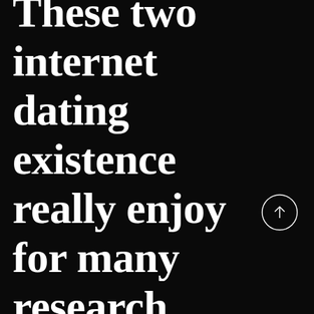These two internet dating existence really enjoy for many research,
[Figure (other): Circular scroll-up button with upward arrow, white outline on dark background]